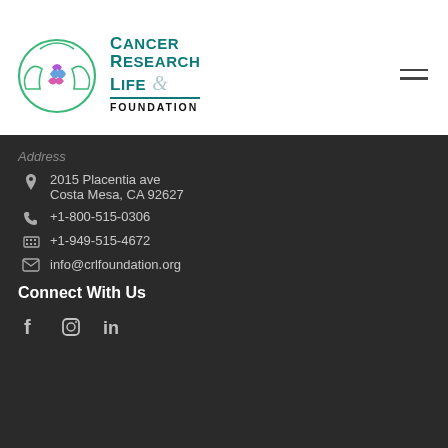[Figure (logo): Cancer Research Life Foundation logo with circular hands and colorful cancer awareness ribbons, teal text]
Address
2015 Placentia ave
Costa Mesa, CA 92627
+1-800-515-0306
+1-949-515-4672
info@crlfoundation.org
Connect With Us
[Figure (infographic): Social media icons: Facebook (f), Instagram, LinkedIn (in)]